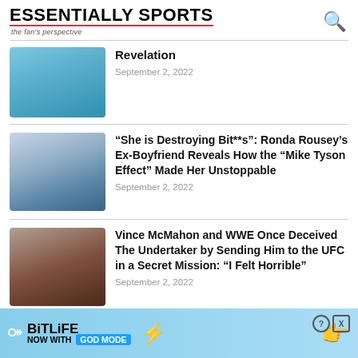ESSENTIALLY SPORTS — the fan's perspective
[Figure (photo): Blurred sports photo thumbnail, blue tones]
Revelation
September 2, 2022
[Figure (photo): Blurred Ronda Rousey fighting photo thumbnail]
“She is Destroying Bit**s”: Ronda Rousey’s Ex-Boyfriend Reveals How the “Mike Tyson Effect” Made Her Unstoppable
September 2, 2022
[Figure (photo): Blurred The Undertaker photo thumbnail]
Vince McMahon and WWE Once Deceived The Undertaker by Sending Him to the UFC in a Secret Mission: “I Felt Horrible”
September 2, 2022
[Figure (screenshot): BitLife ad banner: NOW WITH GOD MODE]
[Figure (photo): Partial dark thumbnail at bottom]